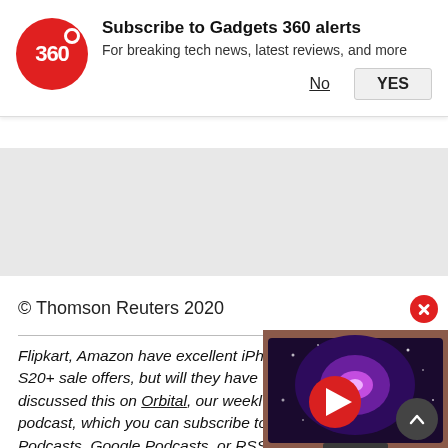[Figure (screenshot): Gadgets 360 push notification subscription prompt with red circular logo showing '360', bold title 'Subscribe to Gadgets 360 alerts', subtitle 'For breaking tech news, latest reviews, and more', and two buttons: 'No' (underlined) and 'YES' (in a box)]
[Figure (screenshot): Grey advertisement/banner placeholder area]
© Thomson Reuters 2020
Flipkart, Amazon have excellent iPhone SE, Galaxy S20+ sale offers, but will they have the best deals? We discussed this on Orbital, our weekly technology podcast, which you can subscribe to via Apple Podcasts, Google Podcasts, or RSS, download the episode, or just hit the play button below.
[Figure (screenshot): Video thumbnail showing a large TV displaying a purple galaxy/nebula image, with a red play button overlay in the center]